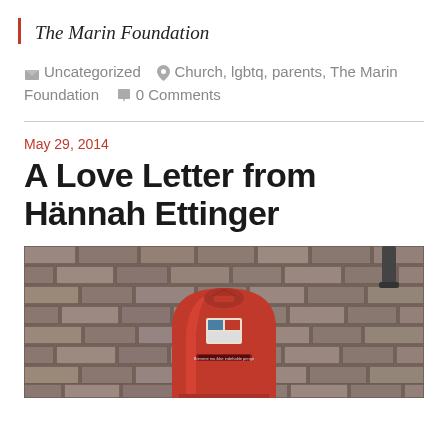The Marin Foundation
Uncategorized  Church, lgbtq, parents, The Marin Foundation  0 Comments
May 29, 2014
A Love Letter from Hännah Ettinger
[Figure (photo): A red Danish-style mailbox mounted on a brick wall, with a sticker on it and a slot labeled text. Photo taken outdoors.]